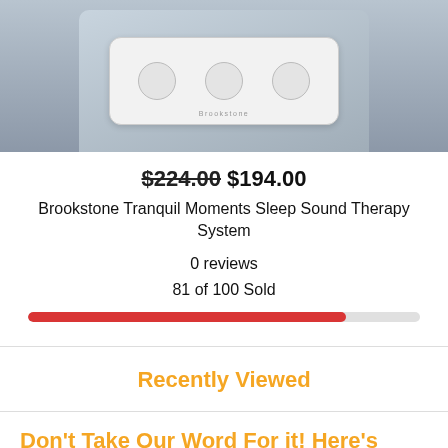[Figure (photo): Partial product photo of a white Brookstone device with circular buttons on a wooden surface, cropped from top]
$224.00 $194.00
Brookstone Tranquil Moments Sleep Sound Therapy System
0 reviews
81 of 100 Sold
[Figure (infographic): A horizontal progress bar showing 81% filled in red, representing 81 of 100 sold]
Recently Viewed
Don't Take Our Word For it! Here's What Our